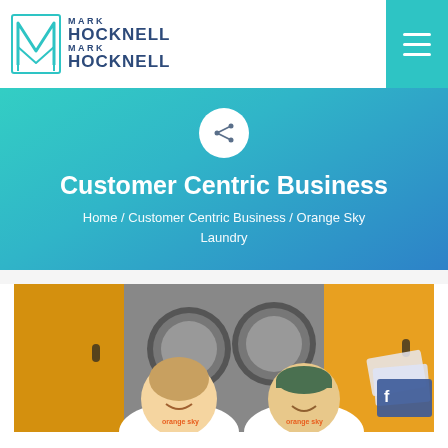[Figure (logo): Mark Hocknell logo with stylized M icon in teal outline and text MARK HOCKNELL MARK HOCKNELL in dark navy]
[Figure (screenshot): Teal hamburger menu button (three horizontal white lines) on teal background in top right corner]
Customer Centric Business
Home / Customer Centric Business / Orange Sky Laundry
[Figure (photo): Two young men in white t-shirts smiling in front of a yellow van with industrial washing machines. Social media cards visible on right side.]